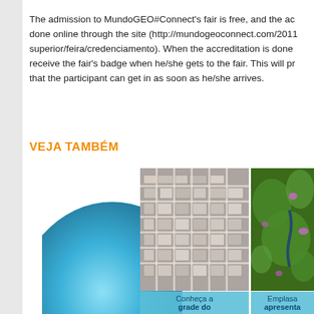The admission to MundoGEO#Connect's fair is free, and the accreditation is done online through the site (http://mundogeoconnect.com/2011/en/menu-superior/feira/credenciamento). When the accreditation is done online, you receive the fair's badge when he/she gets to the fair. This will promote the fact that the participant can get in as soon as he/she arrives.
VEJA TAMBÉM
[Figure (photo): Aerial satellite imagery of an urban area showing city blocks and buildings from above]
[Figure (photo): Satellite imagery showing green vegetation/forest areas with purple spots, possibly false-color remote sensing image]
Conheça a grade do
Emplasa apresenta
[Figure (illustration): Blue metallic globe/sphere partial view in the lower left]